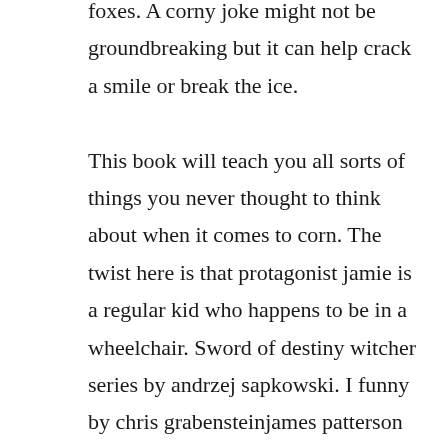foxes. A corny joke might not be groundbreaking but it can help crack a smile or break the ice.

This book will teach you all sorts of things you never thought to think about when it comes to corn. The twist here is that protagonist jamie is a regular kid who happens to be in a wheelchair. Sword of destiny witcher series by andrzej sapkowski. I funny by chris grabensteinjames patterson scholastic. My girl karly and i first got a corn toy off of corntoys. Book depository books with free delivery worldwide. Pri...